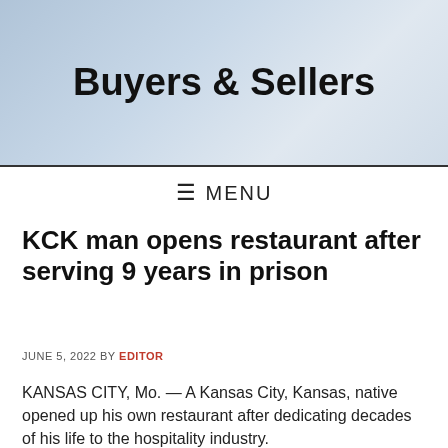Buyers & Sellers
≡ MENU
KCK man opens restaurant after serving 9 years in prison
JUNE 5, 2022 BY EDITOR
KANSAS CITY, Mo. — A Kansas City, Kansas, native opened up his own restaurant after dedicating decades of his life to the hospitality industry.
Jah Kenya Seals finally got the keys to open Opal N